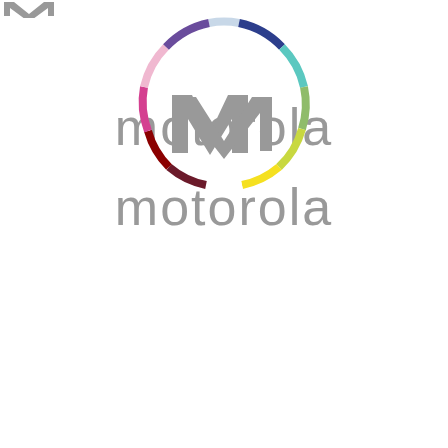[Figure (logo): Motorola logo top: partial colored ring arc (cut off at top) above the word motorola in gray lowercase]
[Figure (logo): Motorola full logo: circular multicolored ring with gray M symbol inside, and motorola written in gray lowercase beneath]
[Figure (logo): Motorola small logo at bottom: tiny M symbol visible at very bottom edge]